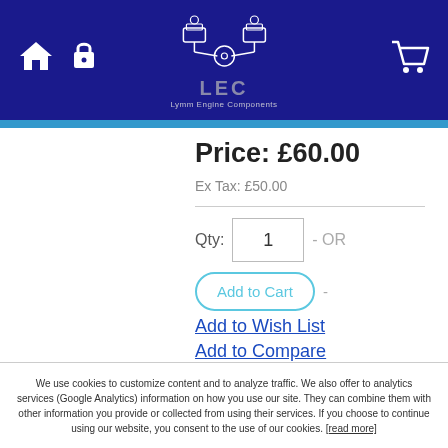Lymm Engine Components — LEC
Price: £60.00
Ex Tax: £50.00
Qty: 1  - OR -
Add to Cart  -
Add to Wish List
Add to Compare
We use cookies to customize content and to analyze traffic. We also offer to analytics services (Google Analytics) information on how you use our site. They can combine them with other information you provide or collected from using their services. If you choose to continue using our website, you consent to the use of our cookies. [read more]